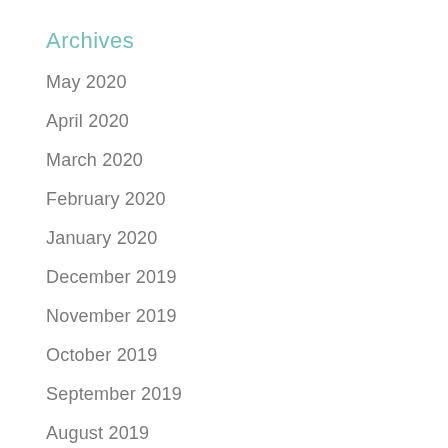Archives
May 2020
April 2020
March 2020
February 2020
January 2020
December 2019
November 2019
October 2019
September 2019
August 2019